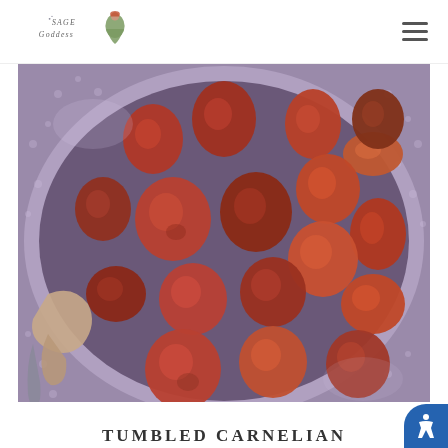Sage Goddess — navigation header with logo and hamburger menu
[Figure (photo): A decorative silver/purple plate bowl filled with tumbled carnelian stones in shades of orange, red, amber, and brown. A hand is partially visible reaching into the bowl. The stones are polished and smooth.]
TUMBLED CARNELIAN